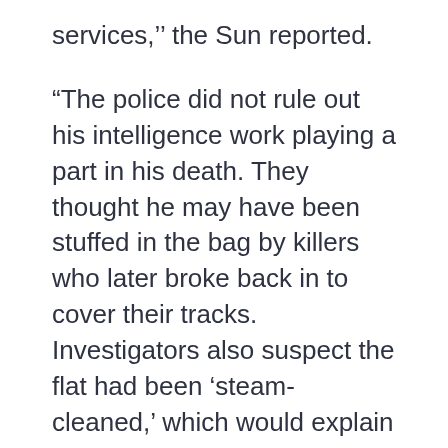services,’’’ the Sun reported.
“The police did not rule out his intelligence work playing a part in his death. They thought he may have been stuffed in the bag by killers who later broke back in to cover their tracks. Investigators also suspect the flat had been ‘steam-cleaned,’ which would explain why no DNA evidence was found.”
No suspects in the case have been